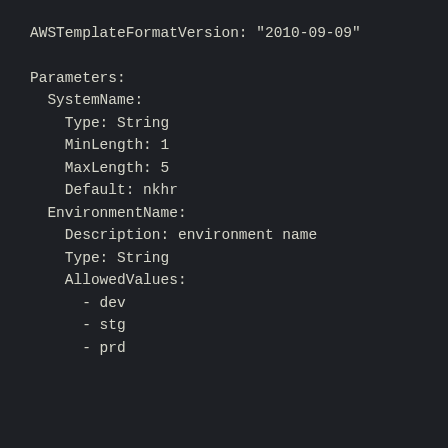AWSTemplateFormatVersion: "2010-09-09"

Parameters:
  SystemName:
    Type: String
    MinLength: 1
    MaxLength: 5
    Default: nkhr
  EnvironmentName:
    Description: environment name
    Type: String
    AllowedValues:
      - dev
      - stg
      - prd